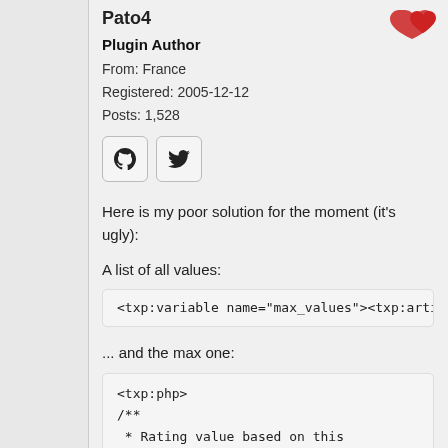Pato4
Plugin Author
From: France
Registered: 2005-12-12
Posts: 1,528
[Figure (illustration): GitHub and Twitter social icon buttons]
[Figure (illustration): Red heart/like icon in top right]
Here is my poor solution for the moment (it's ugly):
A list of all values:
<txp:variable name="max_values"><txp:artic
... and the max one:
<txp:php>
/**
 * Rating value based on this